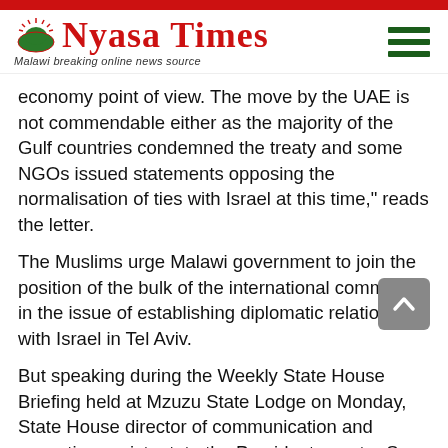Nyasa Times — Malawi breaking online news source
economy point of view. The move by the UAE is not commendable either as the majority of the Gulf countries condemned the treaty and some NGOs issued statements opposing the normalisation of ties with Israel at this time," reads the letter.
The Muslims urge Malawi government to join the position of the bulk of the international community in the issue of establishing diplomatic relationship with Israel in Tel Aviv.
But speaking during the Weekly State House Briefing held at Mzuzu State Lodge on Monday, State House director of communication and executive assistant  to the President,  pastor Sean Kampondeni said Chakwera stood by the Jerusalem choice when he met the Palestinian envoy in Lilongwe.